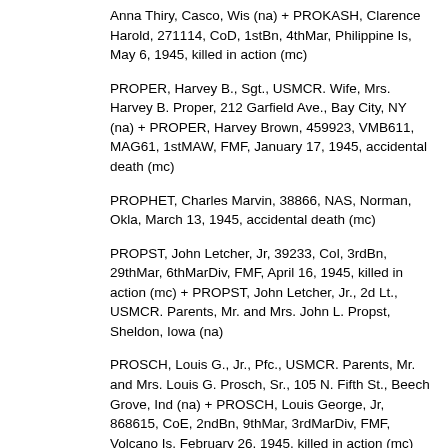Anna Thiry, Casco, Wis (na) + PROKASH, Clarence Harold, 271114, CoD, 1stBn, 4thMar, Philippine Is, May 6, 1945, killed in action (mc)
PROPER, Harvey B., Sgt., USMCR. Wife, Mrs. Harvey B. Proper, 212 Garfield Ave., Bay City, NY (na) + PROPER, Harvey Brown, 459923, VMB611, MAG61, 1stMAW, FMF, January 17, 1945, accidental death (mc)
PROPHET, Charles Marvin, 38866, NAS, Norman, Okla, March 13, 1945, accidental death (mc)
PROPST, John Letcher, Jr, 39233, Col, 3rdBn, 29thMar, 6thMarDiv, FMF, April 16, 1945, killed in action (mc) + PROPST, John Letcher, Jr., 2d Lt., USMCR. Parents, Mr. and Mrs. John L. Propst, Sheldon, Iowa (na)
PROSCH, Louis G., Jr., Pfc., USMCR. Parents, Mr. and Mrs. Louis G. Prosch, Sr., 105 N. Fifth St., Beech Grove, Ind (na) + PROSCH, Louis George, Jr, 868615, CoE, 2ndBn, 9thMar, 3rdMarDiv, FMF, Volcano Is, February 26, 1945, killed in action (mc)
PROSEK, Gilbert G., Pfc., USMCR. Mother, Mrs. Theresa E. Sebastian, R.R. 2, Chester, Ill (na) + PROSEK, Gilbert George, 459282, CoL, 3rdBn, 7thMar, 1stMarDiv, FMF, New Britain, January 3, 1944, killed in action (mc)